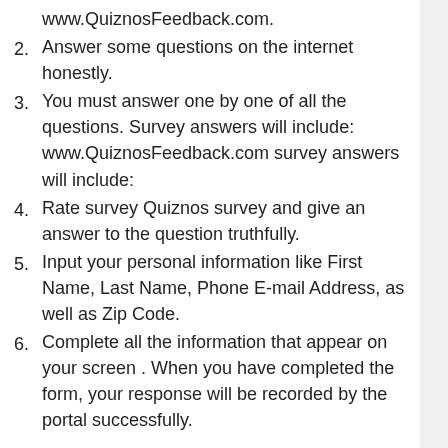www.QuiznosFeedback.com.
Answer some questions on the internet honestly.
You must answer one by one of all the questions. Survey answers will include: www.QuiznosFeedback.com survey answers will include:
Rate survey Quiznos survey and give an answer to the question truthfully.
Input your personal information like First Name, Last Name, Phone E-mail Address, as well as Zip Code.
Complete all the information that appear on your screen . When you have completed the form, your response will be recorded by the portal successfully.